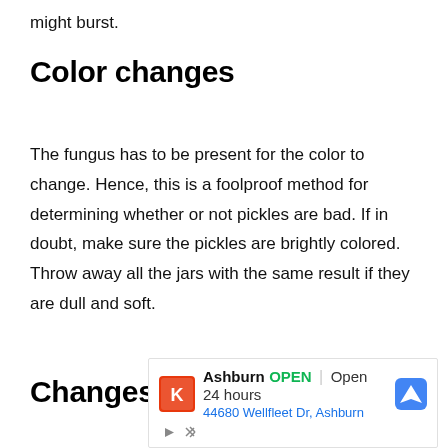might burst.
Color changes
The fungus has to be present for the color to change. Hence, this is a foolproof method for determining whether or not pickles are bad. If in doubt, make sure the pickles are brightly colored. Throw away all the jars with the same result if they are dull and soft.
Changes in Brine/vinegar
[Figure (other): Advertisement overlay showing a Krispy Kreme store in Ashburn listed as OPEN, Open 24 hours, at 44680 Wellfleet Dr, Ashburn, with navigation icon and ad controls.]